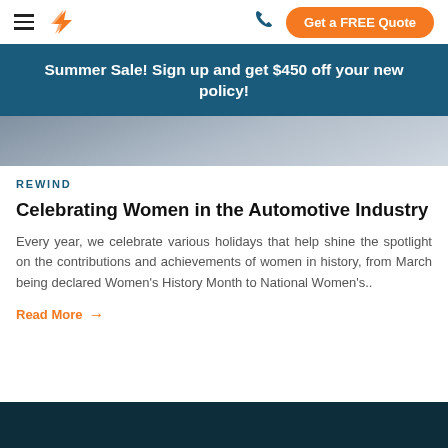Navigation bar with hamburger menu, logo, phone icon, and Get a FREE Quote button
Summer Sale! Sign up and get $450 off your new policy!
[Figure (photo): Partial view of a person in business attire, hero image banner]
REWIND
Celebrating Women in the Automotive Industry
Every year, we celebrate various holidays that help shine the spotlight on the contributions and achievements of women in history, from March being declared Women's History Month to National Women's..
Read More →